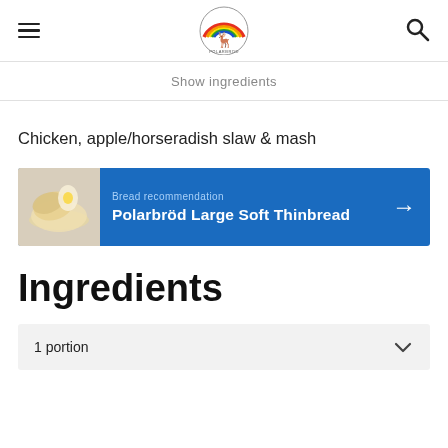Polarbröd logo navigation header with hamburger menu and search icon
Show ingredients
Chicken, apple/horseradish slaw & mash
[Figure (infographic): Blue banner with bread image on left, text 'Bread recommendation' and 'Polarbröd Large Soft Thinbread', and right arrow]
Ingredients
1 portion